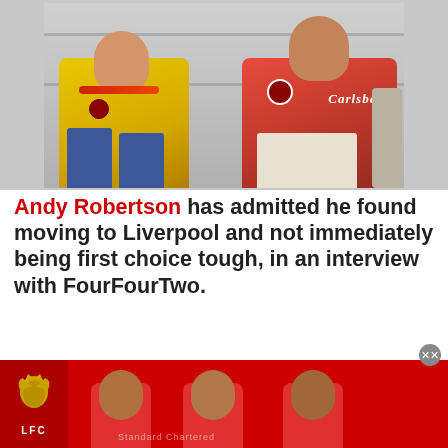[Figure (photo): Two people sitting together. Person on left wearing yellow jacket with red crest badge. Person on right wearing red Liverpool football shirt with Carlsberg sponsor.]
Andy Robertson has admitted he found moving to Liverpool and not immediately being first choice tough, in an interview with FourFourTwo.
Having just been relegated with Hull City, the all-action full-back made the switch to Anfield for around £8 million just over a year ago.
[Figure (photo): Liverpool FC advertisement banner showing LFC logo and three people wearing red Liverpool shirts.]